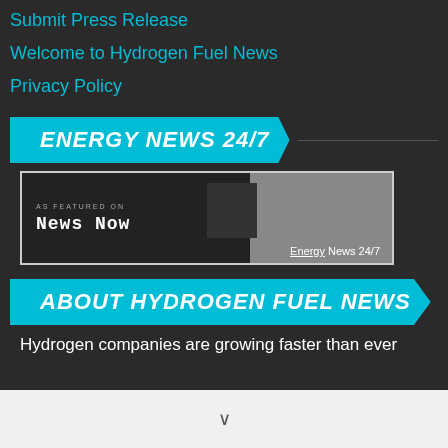Submit Press Release
Welcome to Hydrogen Fuel News
Privacy Policy
ENERGY NEWS 24/7
[Figure (logo): News Now badge with 'AS FEATURED ON' text and 'News NOW' logo, with 'Energy News 24/7' caption]
ABOUT HYDROGEN FUEL NEWS
Hydrogen companies are growing faster than ever